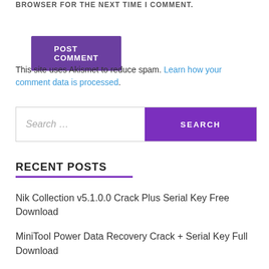BROWSER FOR THE NEXT TIME I COMMENT.
POST COMMENT
This site uses Akismet to reduce spam. Learn how your comment data is processed.
Search …
RECENT POSTS
Nik Collection v5.1.0.0 Crack Plus Serial Key Free Download
MiniTool Power Data Recovery Crack + Serial Key Full Download
Zemana AntiMalware Premium v4.2.8 Crack + License Key Free Download